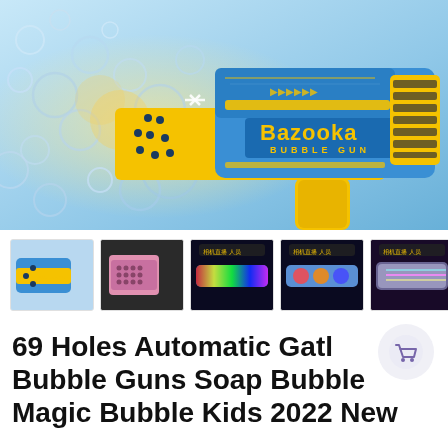[Figure (photo): Blue and yellow Bazooka Bubble Gun toy with bubbles flying out, product photo on light blue background]
[Figure (photo): Row of 5 thumbnail images of the Bazooka Bubble Gun toy showing different angles and light effects]
69 Holes Automatic Gatl Bubble Guns Soap Bubble Magic Bubble Kids 2022 New